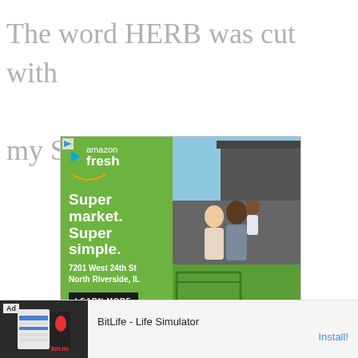The word HERB was cut with my Silhouette machine.
[Figure (screenshot): Amazon Fresh advertisement banner - green background with 'Super market. Super simple.' headline, address 7201 West 24th St North Riverside, IL, and photo of smiling family with shopping cart]
[Figure (screenshot): BitLife - Life Simulator mobile app advertisement banner at bottom of page with Install button]